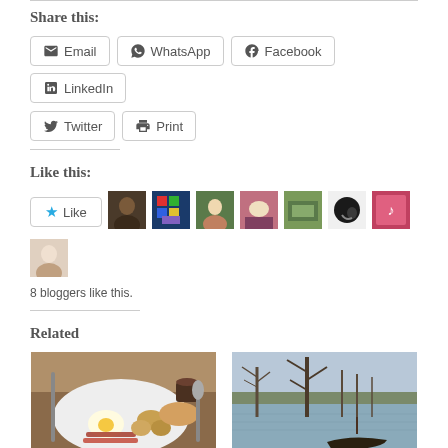Share this:
Email | WhatsApp | Facebook | LinkedIn | Twitter | Print
Like this:
8 bloggers like this.
Related
[Figure (photo): Plate of food with eggs, bacon, potatoes and pancakes]
10 Favourite Restaurants
[Figure (photo): Flooded landscape with bare trees and a boat]
Best of food, travel and